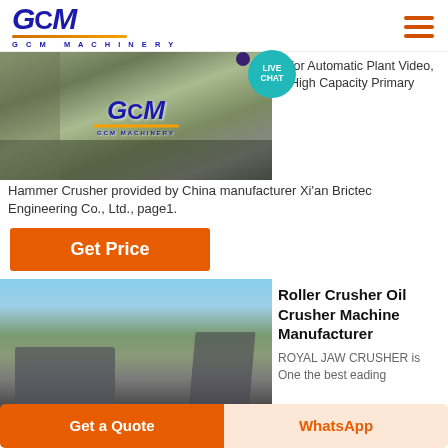[Figure (logo): GCM Machinery logo with blue stylized text and orange underline, with 'GCM MACHINERY' subtitle]
[Figure (photo): Industrial hammer crusher machinery in a plant setting with GCM Machinery logo overlay]
for Automatic Plant Video, High Capacity Primary Hammer Crusher provided by China manufacturer Xi'an Brictec Engineering Co., Ltd., page1.
Get Price
[Figure (photo): Roller crusher / jaw crusher machine outdoors in desert/arid setting with mountains in background]
Roller Crusher Oil Crusher Machine Manufacturer
ROYAL JAW CRUSHER is One the best eading...
Get a Quote
WhatsApp